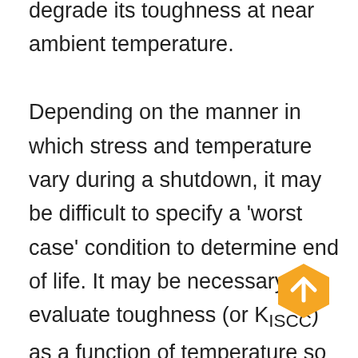degrade its toughness at near ambient temperature.

Depending on the manner in which stress and temperature vary during a shutdown, it may be difficult to specify a 'worst case' condition to determine end of life. It may be necessary to evaluate toughness (or KISCC) as a function of temperature so that a conservative (but not overly conservative) estimate of maximum tolerable flaw size can be determined. Furthermore, a distinction needs to be made between buried and external flaws, and internal surface breaking flaws where production fluids have direct access to the highly strained region of material at the crack tip. For the former, fracture toughness
[Figure (other): Orange hexagonal scroll-to-top button with white upward arrow]